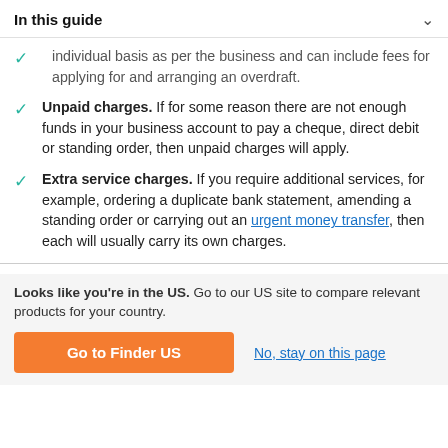In this guide
Overdraft facility fees. These are negotiated on an individual basis as per the business and can include fees for applying for and arranging an overdraft.
Unpaid charges. If for some reason there are not enough funds in your business account to pay a cheque, direct debit or standing order, then unpaid charges will apply.
Extra service charges. If you require additional services, for example, ordering a duplicate bank statement, amending a standing order or carrying out an urgent money transfer, then each will usually carry its own charges.
Looks like you're in the US. Go to our US site to compare relevant products for your country.
Go to Finder US
No, stay on this page